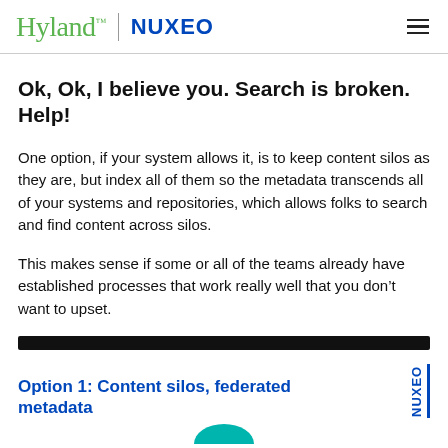Hyland | NUXEO
Ok, Ok, I believe you. Search is broken. Help!
One option, if your system allows it, is to keep content silos as they are, but index all of them so the metadata transcends all of your systems and repositories, which allows folks to search and find content across silos.
This makes sense if some or all of the teams already have established processes that work really well that you don’t want to upset.
Option 1: Content silos, federated metadata